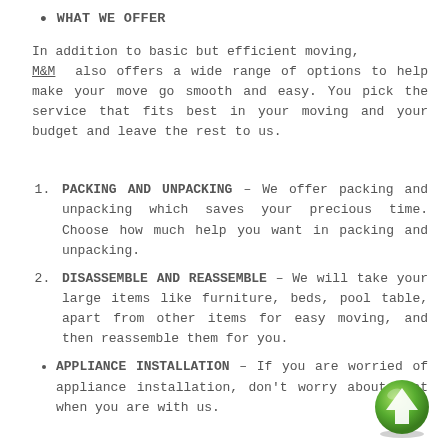WHAT WE OFFER
In addition to basic but efficient moving, M&M also offers a wide range of options to help make your move go smooth and easy. You pick the service that fits best in your moving and your budget and leave the rest to us.
PACKING AND UNPACKING – We offer packing and unpacking which saves your precious time. Choose how much help you want in packing and unpacking.
DISASSEMBLE AND REASSEMBLE – We will take your large items like furniture, beds, pool table, apart from other items for easy moving, and then reassemble them for you.
APPLIANCE INSTALLATION – If you are worried of appliance installation, don't worry about that when you are with us.
[Figure (illustration): Green circular up-arrow button icon]